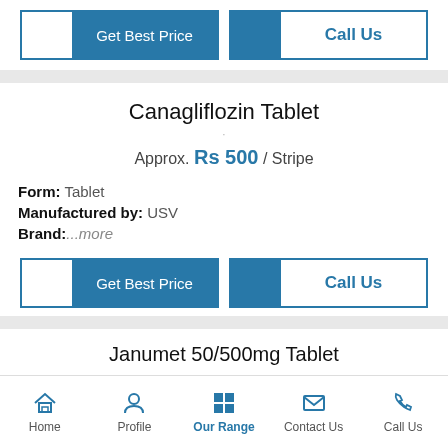[Figure (screenshot): Get Best Price and Call Us buttons (top)]
Canagliflozin Tablet
Approx. Rs 500 / Stripe
Form: Tablet
Manufactured by: USV
Brand:...more
[Figure (screenshot): Get Best Price and Call Us buttons (bottom)]
Janumet 50/500mg Tablet
Home  Profile  Our Range  Contact Us  Call Us